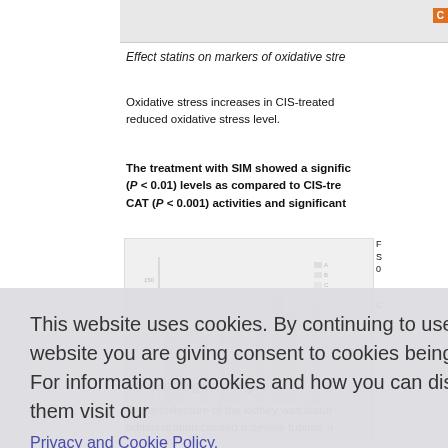Effect statins on markers of oxidative stress
Oxidative stress increases in CIS-treated reduced oxidative stress level.
The treatment with SIM showed a significant (P < 0.01) levels as compared to CIS-treated CAT (P < 0.001) activities and significant
[Figure (bar-chart): Bar chart showing effect of statins on markers of oxidative stress in kidney tissue]
S 0
Histopathological changes
The architecture of the kidney was disturbed administration caused a severe tubular n
This website uses cookies. By continuing to use this website you are giving consent to cookies being used. For information on cookies and how you can disable them visit our Privacy and Cookie Policy.